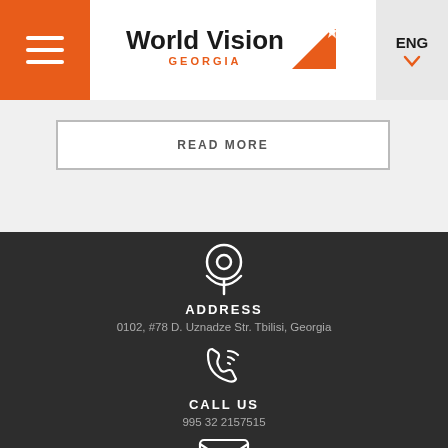World Vision GEORGIA — ENG — navigation header
READ MORE
ADDRESS
0102, #78 D. Uznadze Str. Tbilisi, Georgia
CALL US
995 32 2157515